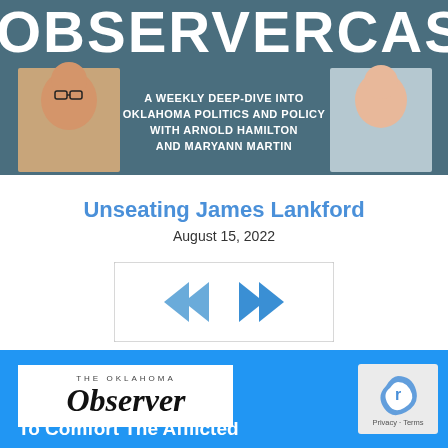[Figure (infographic): ObserverCast podcast banner with dark teal background, large white text 'OBSERVERCAST', two host photos (male with glasses on left, female on right), and subtitle text: A WEEKLY DEEP-DIVE INTO OKLAHOMA POLITICS AND POLICY WITH ARNOLD HAMILTON AND MARYANN MARTIN]
Unseating James Lankford
August 15, 2022
[Figure (screenshot): Audio player controls showing rewind (double left arrow) and fast forward (double right arrow) buttons in blue, inside a bordered box]
[Figure (logo): The Oklahoma Observer logo in black and white on white background]
[Figure (other): reCAPTCHA widget with Privacy and Terms text]
To Comfort The Afflicted